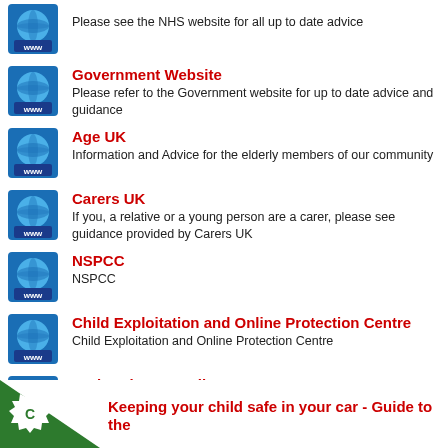Government Website - Please refer to the Government website for up to date advice and guidance
Age UK - Information and Advice for the elderly members of our community
Carers UK - If you, a relative or a young person are a carer, please see guidance provided by Carers UK
NSPCC - NSPCC
Child Exploitation and Online Protection Centre - Child Exploitation and Online Protection Centre
Derby City Council - Derby City Council
Useful Links and Resources
Keeping your child safe in your car - Guide to the